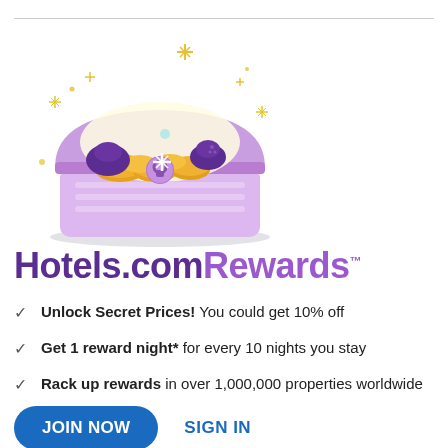[Figure (illustration): Illustrated treasure chest open with gold coins inside, purple color scheme with sparkles and stars around it, glowing yellow light from inside]
Hotels.com Rewards™
Unlock Secret Prices! You could get 10% off
Get 1 reward night* for every 10 nights you stay
Rack up rewards in over 1,000,000 properties worldwide
JOIN NOW  SIGN IN